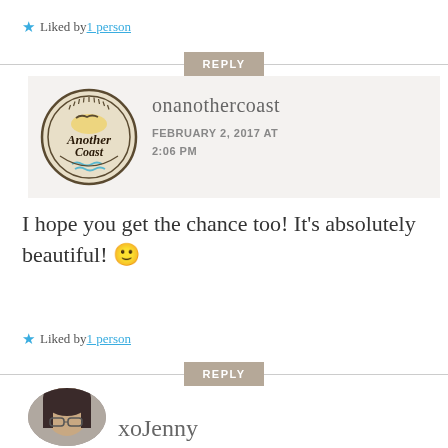★ Liked by 1 person
REPLY
[Figure (logo): Circular logo for 'Another Coast' blog — hand-drawn style with sun, bird, waves]
onanothercoast
FEBRUARY 2, 2017 AT 2:06 PM
I hope you get the chance too! It's absolutely beautiful! 🙂
★ Liked by 1 person
REPLY
[Figure (photo): Partial avatar photo of xoJenny — person with glasses and dark hair]
xoJenny